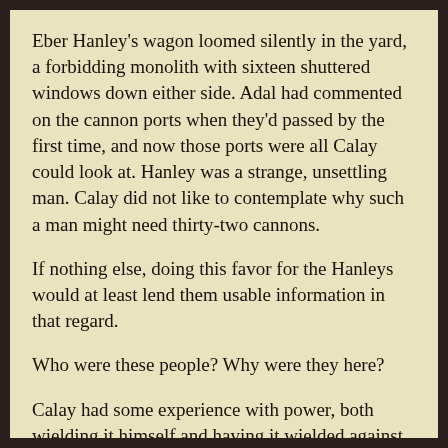Eber Hanley's wagon loomed silently in the yard, a forbidding monolith with sixteen shuttered windows down either side. Adal had commented on the cannon ports when they'd passed by the first time, and now those ports were all Calay could look at. Hanley was a strange, unsettling man. Calay did not like to contemplate why such a man might need thirty-two cannons.
If nothing else, doing this favor for the Hanleys would at least lend them usable information in that regard.
Who were these people? Why were they here?
Calay had some experience with power, both wielding it himself and having it wielded against him. He'd observed the systems in Vasile, the structure that kept women like Rovelenne Talvace in power.